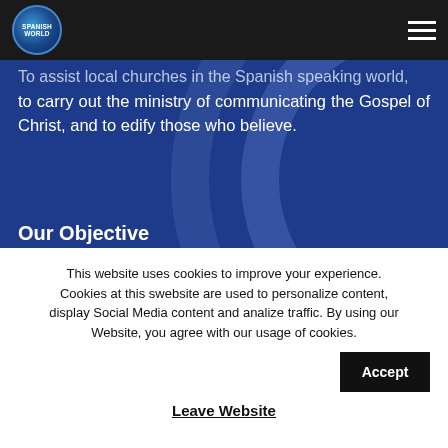Spanish World [logo] [hamburger menu]
To assist local churches in the Spanish speaking world, to carry out the ministry of communicating the Gospel of Christ, and to edify those who believe.
Our Objective
To accomplish our mission making the most responsible and effective use of the resources that the Lord…
This website uses cookies to improve your experience. Cookies at this swebsite are used to personalize content, display Social Media content and analize traffic. By using our Website, you agree with our usage of cookies.
Accept
Leave Website